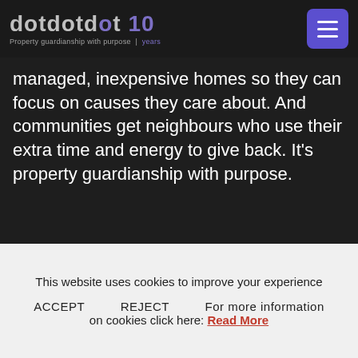dotdotdot 10 | Property guardianship with purpose | years
managed, inexpensive homes so they can focus on causes they care about. And communities get neighbours who use their extra time and energy to give back. It's property guardianship with purpose.
This website uses cookies to improve your experience
ACCEPT    REJECT    For more information on cookies click here: Read More